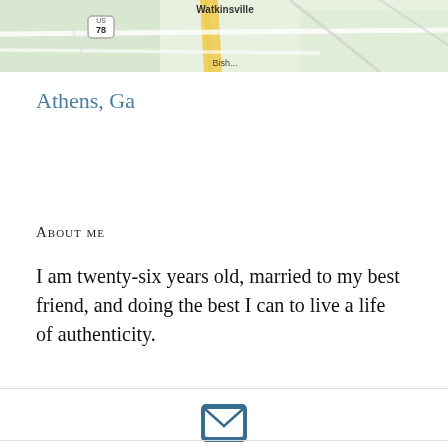[Figure (map): Partial map view showing roads near Watkinsville area, with a route 78 badge and yellow road highlight]
Athens, Ga
About me
I am twenty-six years old, married to my best friend, and doing the best I can to live a life of authenticity.
[Figure (illustration): Email envelope icon (white envelope on dark teal/blue square background)]